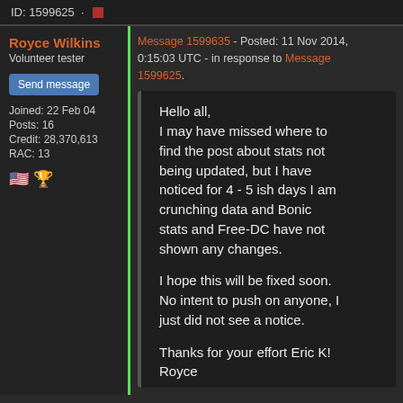ID: 1599625 · ■
Royce Wilkins
Volunteer tester
Send message
Joined: 22 Feb 04
Posts: 16
Credit: 28,370,613
RAC: 13
Message 1599635 - Posted: 11 Nov 2014, 0:15:03 UTC - in response to Message 1599625.
Hello all,
I may have missed where to find the post about stats not being updated, but I have noticed for 4 - 5 ish days I am crunching data and Bonic stats and Free-DC have not shown any changes.

I hope this will be fixed soon. No intent to push on anyone, I just did not see a notice.

Thanks for your effort Eric K!
Royce